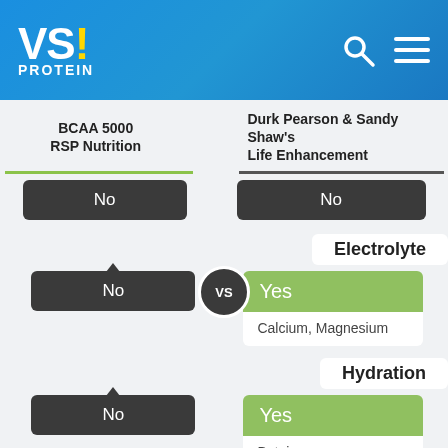[Figure (logo): VS! PROTEIN logo on blue gradient header with search and menu icons]
BCAA 5000 RSP Nutrition VS Durk Pearson & Sandy Shaw's Life Enhancement
No | No
Electrolyte
No | Yes — Calcium, Magnesium
Hydration
No | Yes — Betaine
Vitamins / Minerals
No | Yes